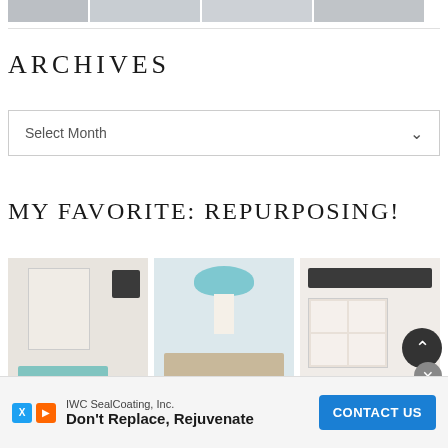[Figure (photo): Four small thumbnail images in a row at the top of the page]
ARCHIVES
Select Month
MY FAVORITE: REPURPOSING!
[Figure (photo): Three photos in a row: a white organizer box, a teal bowl on pedestal, and a white shelf unit with banner]
IWC SealCoating, Inc.
Don't Replace, Rejuvenate
CONTACT US